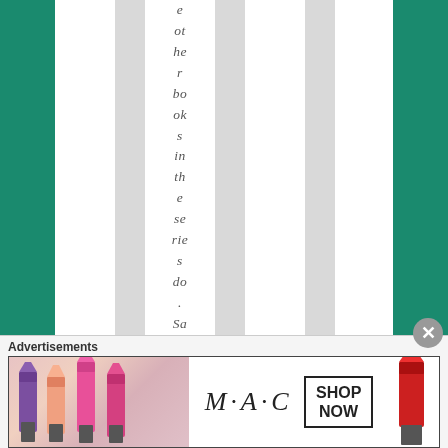e other books in the series do. Same
[Figure (other): Advertisement banner for MAC cosmetics featuring lipsticks and 'SHOP NOW' call to action]